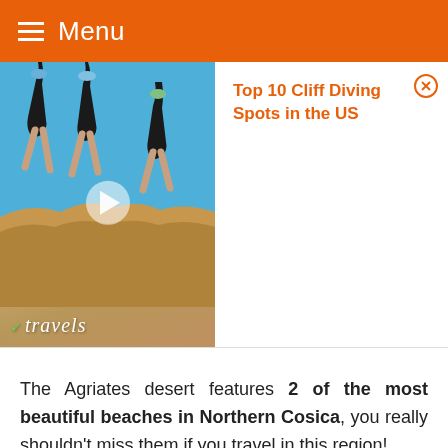Menu
[Figure (photo): Video thumbnail showing three people jumping from rocks against a blue sky, with a play button overlay and the word 'travels' watermarked at the bottom left.]
Top 10 Cliff Diving Spots in the US
The Agriates desert features 2 of the most beautiful beaches in Northern Cosica, you really shouldn't miss them if you travel in this region!